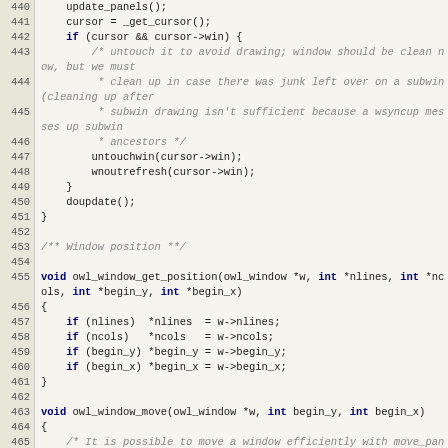[Figure (screenshot): Source code listing showing C code for owl_window functions, lines 440-466, with line numbers in a beige gutter and code on light yellow background.]